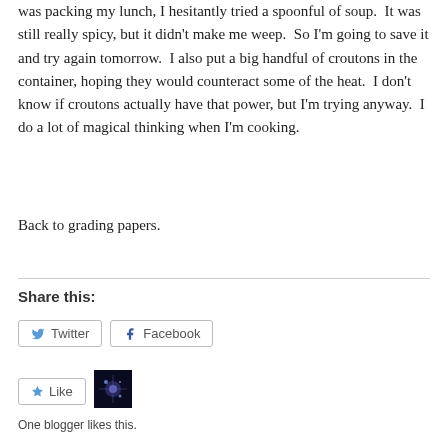was packing my lunch, I hesitantly tried a spoonful of soup.  It was still really spicy, but it didn't make me weep.  So I'm going to save it and try again tomorrow.  I also put a big handful of croutons in the container, hoping they would counteract some of the heat.  I don't know if croutons actually have that power, but I'm trying anyway.  I do a lot of magical thinking when I'm cooking.
Back to grading papers.
Share this:
Twitter  Facebook
Like
One blogger likes this.